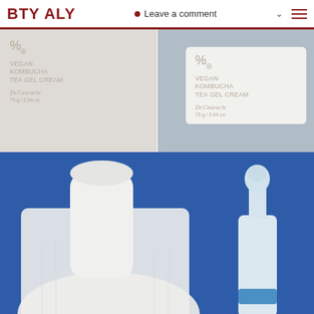BTY ALY | Leave a comment
[Figure (photo): Two product photos of Dr. Ceuracle Vegan Kombucha Tea Gel Cream 75g / 2.64 oz. Left shows flat lay of product box on light beige background; right shows close-up of cream jar with white label on blueish-grey background.]
[Figure (photo): Product photo on blue background showing white dropper serum bottle next to rolled white muslin cloth.]